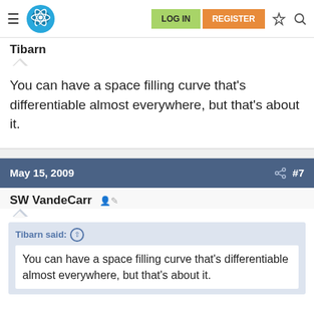LOG IN | REGISTER
Tibarn
You can have a space filling curve that's differentiable almost everywhere, but that's about it.
May 15, 2009 #7
SW VandeCarr
Tibarn said:
You can have a space filling curve that's differentiable almost everywhere, but that's about it.